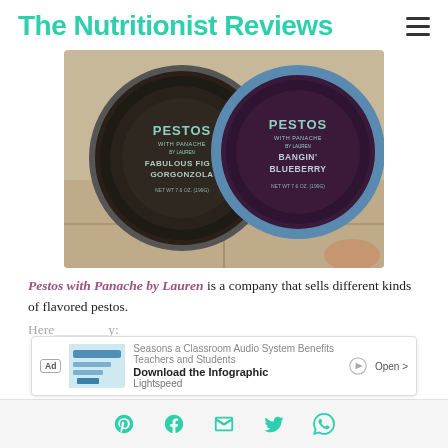The Nutritionist Reviews
[Figure (photo): Two circular jars of Pestos with Panache by Lauren — left jar labeled 'Fabulous Fig & Gorgonzola', right jar labeled 'Bangin' Blueberry', both showing dark-colored pesto products viewed from above]
Pestos with Panache by Lauren is a company that sells different kinds of flavored pestos. Here ___y:
[Figure (other): Advertisement banner: 'Download the Infographic' by Lightspeed with Open button]